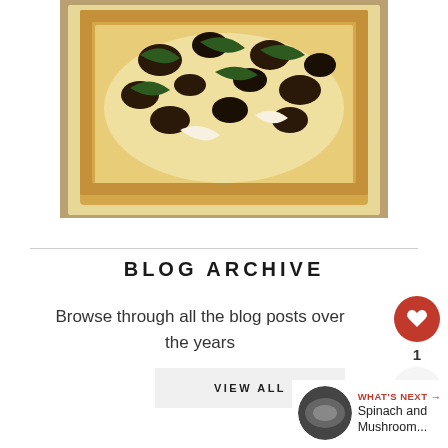[Figure (photo): Top-down photo of a rectangular pastry tart with mushrooms, spinach, and cheese on a baking tray]
BLOG ARCHIVE
Browse through all the blog posts over the years
VIEW ALL
[Figure (infographic): What's Next arrow with thumbnail of Spinach and Mushroom dish, labeled 'Spinach and Mushroom...']